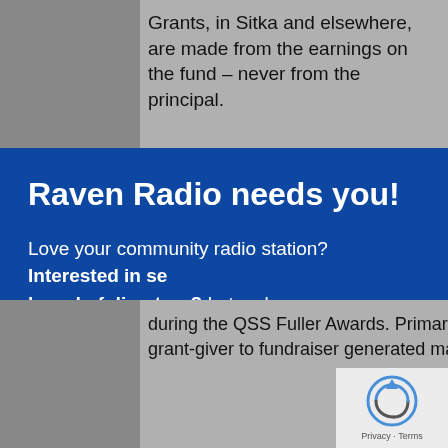Grants, in Sitka and elsewhere, are made from the earnings on the fund – never from the principal.
Raven Radio needs you!
Love your community radio station? Interested in serving on the board of directors? Let us know your interest, and learn about the opportunity.
[Figure (other): Red button with text 'Click here!']
during the QSS Fuller Awards. Primarily nonprofits in the audience, Sherman's switch from grant-giver to fundraiser generated many smiles.